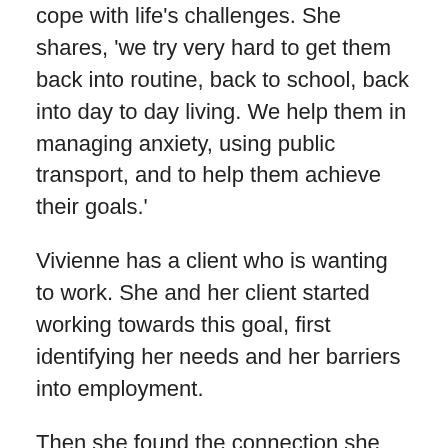cope with life's challenges. She shares, 'we try very hard to get them back into routine, back to school, back into day to day living. We help them in managing anxiety, using public transport, and to help them achieve their goals.'
Vivienne has a client who is wanting to work. She and her client started working towards this goal, first identifying her needs and her barriers into employment.
Then she found the connection she needed to further support her client. She connected with Bridget Hall from Able Southern Family Support. It turned out that Bridget is a fellow Careerforce apprentice.
'They support someone to get a CV done properly. They help people find suitable employment,' explains Vivi...